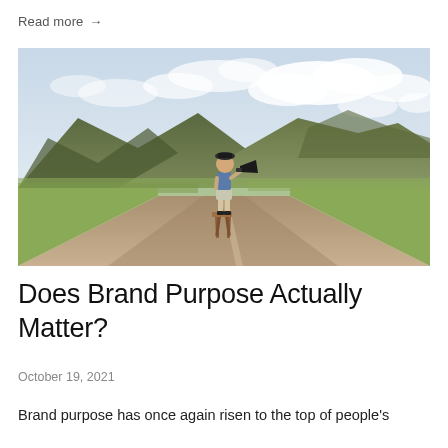Read more →
[Figure (photo): A child standing on a wooden stool in the middle of an empty road, speaking through a megaphone/bullhorn, with mountains and cloudy sky in the background.]
Does Brand Purpose Actually Matter?
October 19, 2021
Brand purpose has once again risen to the top of people's